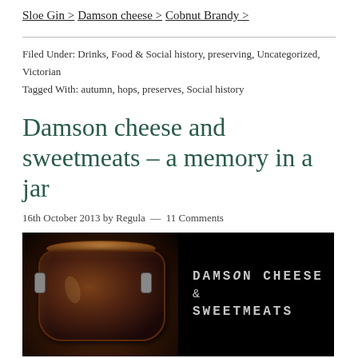Sloe Gin >
Damson cheese >
Cobnut Brandy >
Filed Under: Drinks, Food & Social history, preserving, Uncategorized, Victorian
Tagged With: autumn, hops, preserves, Social history
Damson cheese and sweetmeats – a memory in a jar
16th October 2013 by Regula  —  11 Comments
[Figure (photo): Dark photograph of a glass jar with lid against black background, with text overlay reading DAMSON CHEESE & SWEETMEATS in monospace uppercase font]